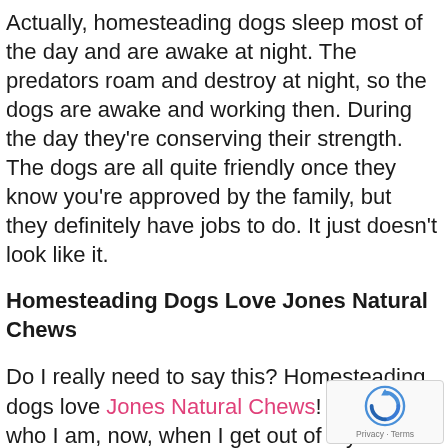Actually, homesteading dogs sleep most of the day and are awake at night. The predators roam and destroy at night, so the dogs are awake and working then. During the day they're conserving their strength. The dogs are all quite friendly once they know you're approved by the family, but they definitely have jobs to do. It just doesn't look like it.
Homesteading Dogs Love Jones Natural Chews
Do I really need to say this? Homesteading dogs love Jones Natural Chews! They know who I am, now, when I get out of my car. They sniff me, and especially my purse, looking for their treats. I bring them big bones and pizzles, so they know the stuff is hidden somewhere on my person.